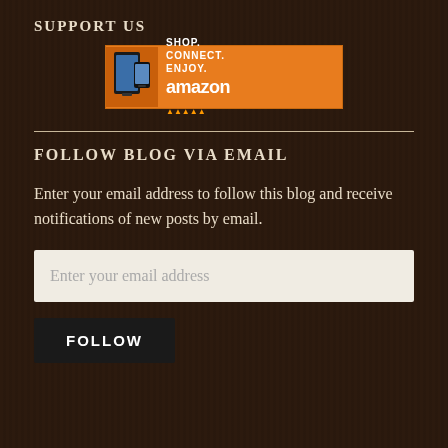SUPPORT US
[Figure (other): Amazon affiliate banner ad with orange background showing tablet/kindle devices and text: SHOP. CONNECT. ENJOY. amazon]
FOLLOW BLOG VIA EMAIL
Enter your email address to follow this blog and receive notifications of new posts by email.
Enter your email address
FOLLOW